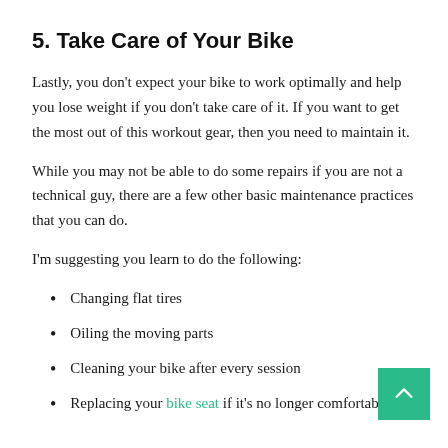5. Take Care of Your Bike
Lastly, you don't expect your bike to work optimally and help you lose weight if you don't take care of it. If you want to get the most out of this workout gear, then you need to maintain it.
While you may not be able to do some repairs if you are not a technical guy, there are a few other basic maintenance practices that you can do.
I'm suggesting you learn to do the following:
Changing flat tires
Oiling the moving parts
Cleaning your bike after every session
Replacing your bike seat if it's no longer comfortable